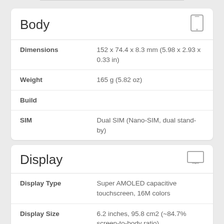|  |  |
| --- | --- |
| Body |  |
| Dimensions | 152 x 74.4 x 8.3 mm (5.98 x 2.93 x 0.33 in) |
| Weight | 165 g (5.82 oz) |
| Build |  |
| SIM | Dual SIM (Nano-SIM, dual stand-by) |
|  |  |
| --- | --- |
| Display |  |
| Display Type | Super AMOLED capacitive touchscreen, 16M colors |
| Display Size | 6.2 inches, 95.8 cm2 (~84.7% screen-to-body ratio) |
| Display | 1080 x 2232 pixels, 18.5:9 |